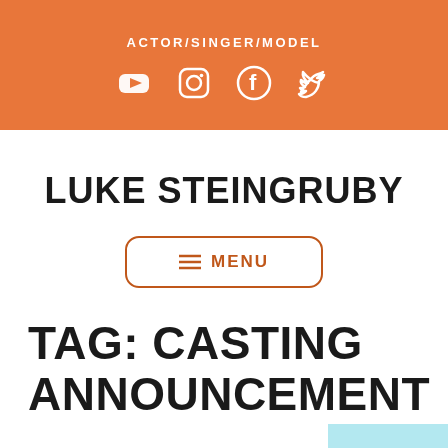ACTOR/SINGER/MODEL
[Figure (other): Social media icons: YouTube, Instagram, Facebook, Twitter in white on orange background]
LUKE STEINGRUBY
≡ MENU
TAG: CASTING ANNOUNCEMENT